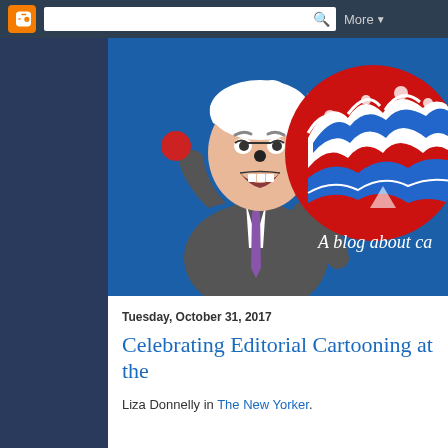Blogger navigation bar with search and More menu
[Figure (illustration): Blog header illustration showing a caricature of a politician in a grey suit with purple tie holding a red ball, set against a blue background with a Japanese Great Wave painting in a red circle on the right. Text on right reads 'A blog about ca']
Tuesday, October 31, 2017
Celebrating Editorial Cartooning at the
Liza Donnelly in The New Yorker.